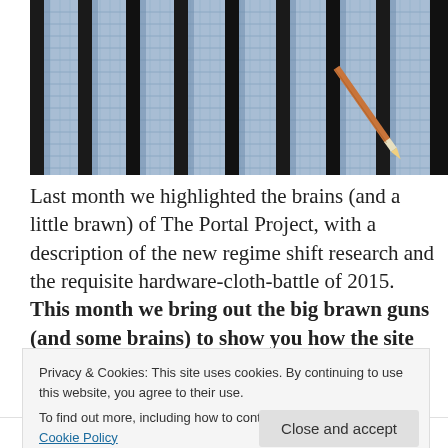[Figure (photo): Close-up photo of a wire mesh or hardware cloth grid with thick black vertical bars. A pencil or tool is visible at the upper right corner of the mesh.]
Last month we highlighted the brains (and a little brawn) of The Portal Project, with a description of the new regime shift research and the requisite hardware-cloth-battle of 2015.  This month we bring out the big brawn guns (and some brains) to show you how the site keeps its youthful glow year after year in the unforgiving
Privacy & Cookies: This site uses cookies. By continuing to use this website, you agree to their use.
To find out more, including how to control cookies, see here: Cookie Policy
Close and accept